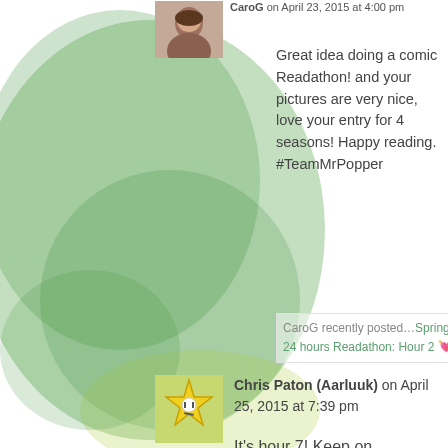[Figure (photo): User avatar photo of CaroG - woman with dark hair]
CaroG on April 23, 2015 at 4:00 pm
Great idea doing a comic Readathon! and your pictures are very nice, love your entry for 4 seasons! Happy reading. #TeamMrPopper
CaroG recently posted…Spring 2015: Dewey's 24 hours Readathon: Hour 2 🎮
Reply
[Figure (photo): User avatar of Chris Paton (Aarluuk) - star character icon]
Chris Paton (Aarluuk) on April 25, 2015 at 7:39 pm
It's hour 7! Keep on reading!